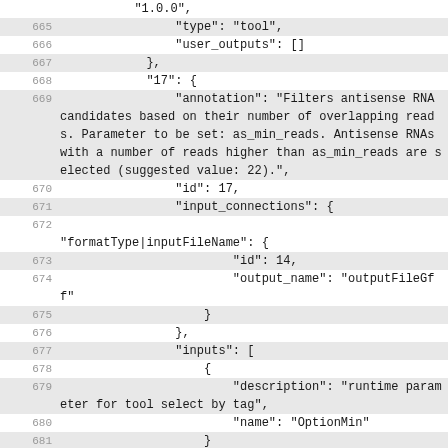Code listing lines 664-681 showing JSON configuration for a bioinformatics tool with annotation about filtering antisense RNA candidates based on overlapping reads.